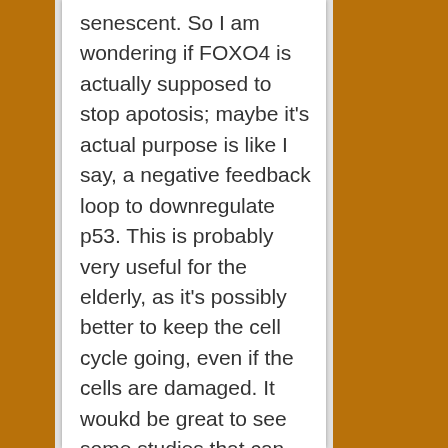senescent. So I am wondering if FOXO4 is actually supposed to stop apotosis; maybe it's actual purpose is like I say, a negative feedback loop to downregulate p53. This is probably very useful for the elderly, as it's possibly better to keep the cell cycle going, even if the cells are damaged. It woukd be great to see some studies that can unpick arrest, senescence and apoptosis.